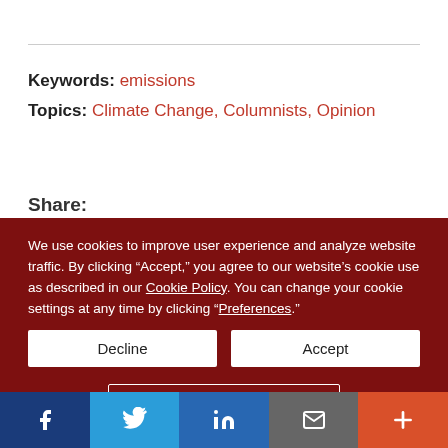Keywords: emissions
Topics: Climate Change, Columnists, Opinion
Share:
We use cookies to improve user experience and analyze website traffic. By clicking “Accept,” you agree to our website’s cookie use as described in our Cookie Policy. You can change your cookie settings at any time by clicking “Preferences.”
Decline
Accept
Preferences